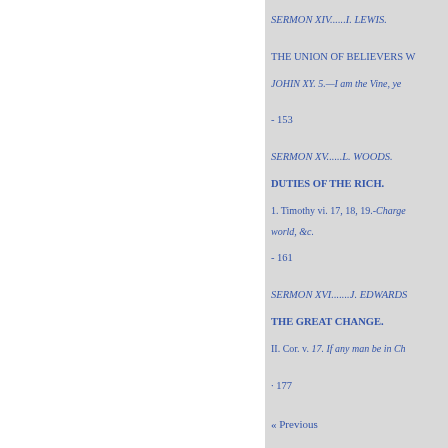SERMON XIV......I. LEWIS.
THE UNION OF BELIEVERS W
JOHIN XY. 5.—I am the Vine, ye
- 153
SERMON XV......L. WOODS.
DUTIES OF THE RICH.
1. Timothy vi. 17, 18, 19.-Charge them that are rich in this world, &c.
- 161
SERMON XVI.......J. EDWARDS
THE GREAT CHANGE.
II. Cor. v. 17. If any man be in Ch
· 177
« Previous